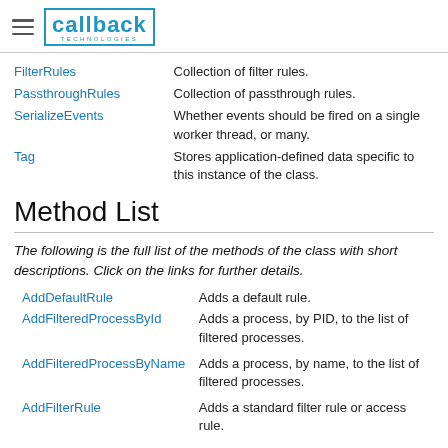callback TECHNOLOGIES
| Property | Description |
| --- | --- |
| FilterRules | Collection of filter rules. |
| PassthroughRules | Collection of passthrough rules. |
| SerializeEvents | Whether events should be fired on a single worker thread, or many. |
| Tag | Stores application-defined data specific to this instance of the class. |
Method List
The following is the full list of the methods of the class with short descriptions. Click on the links for further details.
| Method | Description |
| --- | --- |
| AddDefaultRule | Adds a default rule. |
| AddFilteredProcessById | Adds a process, by PID, to the list of filtered processes. |
| AddFilteredProcessByName | Adds a process, by name, to the list of filtered processes. |
| AddFilterRule | Adds a standard filter rule or access rule. |